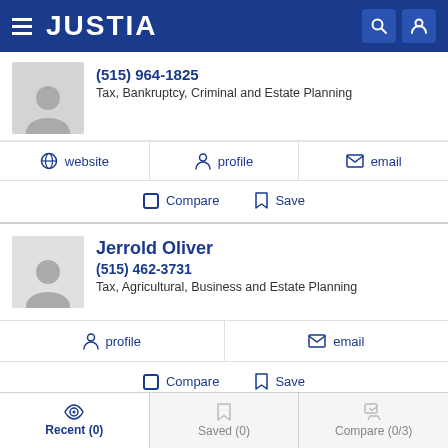JUSTIA
(515) 964-1825
Tax, Bankruptcy, Criminal and Estate Planning
website | profile | email
Compare | Save
Jerrold Oliver
(515) 462-3731
Tax, Agricultural, Business and Estate Planning
profile | email
Compare | Save
Recent (0) | Saved (0) | Compare (0/3)